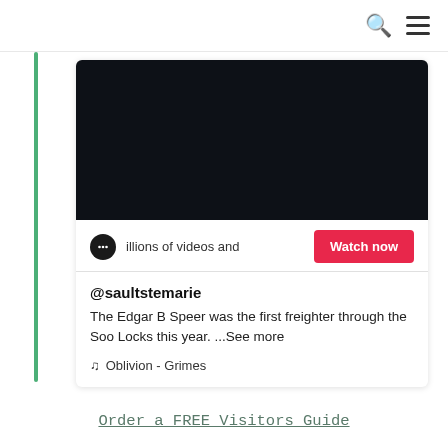[Figure (screenshot): TikTok embedded video card showing dark video player, a 'Watch now' button in red/pink, the handle @saultstemarie, a caption about the Edgar B Speer freighter through the Soo Locks, and a music label 'Oblivion - Grimes']
@saultstemarie
The Edgar B Speer was the first freighter through the Soo Locks this year. ...See more
♫ Oblivion - Grimes
Order a FREE Visitors Guide